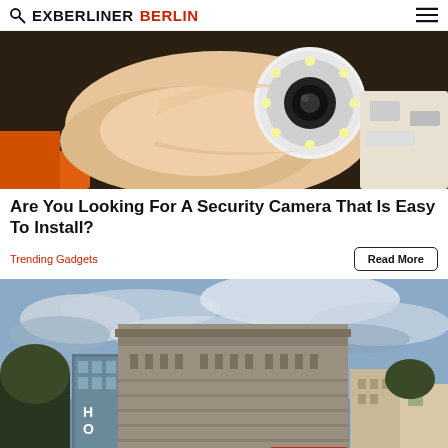EXBERLINER BERLIN
[Figure (photo): A hand holding a small white circular security camera with LED lights around the lens, being unboxed]
Are You Looking For A Security Camera That Is Easy To Install?
Trending Gadgets
[Figure (photo): HDR photo of a large brutalist concrete building (Berlin flak tower) against a dramatic cloudy sky, with trees and surrounding buildings visible]